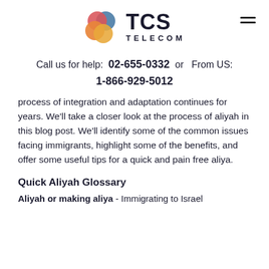TCS TELECOM
Call us for help: 02-655-0332 or From US: 1-866-929-5012
process of integration and adaptation continues for years. We'll take a closer look at the process of aliyah in this blog post. We'll identify some of the common issues facing immigrants, highlight some of the benefits, and offer some useful tips for a quick and pain free aliya.
Quick Aliyah Glossary
Aliyah or making aliya - Immigrating to Israel